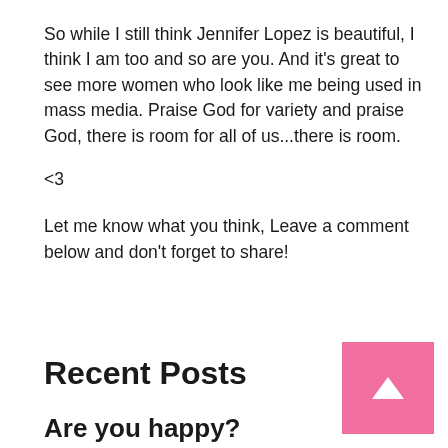So while I still think Jennifer Lopez is beautiful, I think I am too and so are you. And it’s great to see more women who look like me being used in mass media. Praise God for variety and praise God, there is room for all of us...there is room.
<3
Let me know what you think, Leave a comment below and don’t forget to share!
Recent Posts
Are you happy?